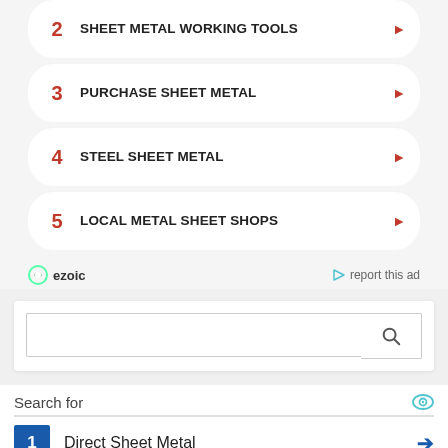2 SHEET METAL WORKING TOOLS
3 PURCHASE SHEET METAL
4 STEEL SHEET METAL
5 LOCAL METAL SHEET SHOPS
ezoic   report this ad
[Figure (screenshot): Search input box with search button]
Search for
1 Direct Sheet Metal
2 Sheet Metal Punching